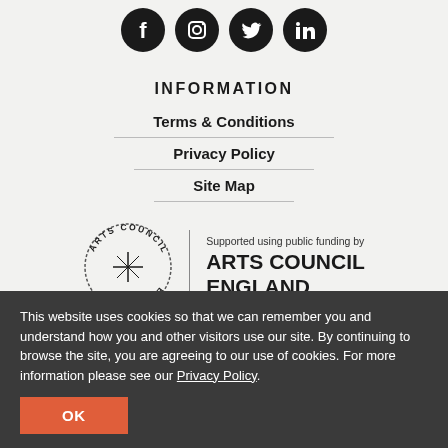[Figure (illustration): Four circular social media icons: Facebook, Instagram, Twitter, LinkedIn — black circles with white logos]
INFORMATION
Terms & Conditions
Privacy Policy
Site Map
[Figure (logo): Arts Council England logo — circular text badge with vertical divider and text: Supported using public funding by ARTS COUNCIL ENGLAND]
This website uses cookies so that we can remember you and understand how you and other visitors use our site. By continuing to browse the site, you are agreeing to our use of cookies. For more information please see our Privacy Policy.
OK